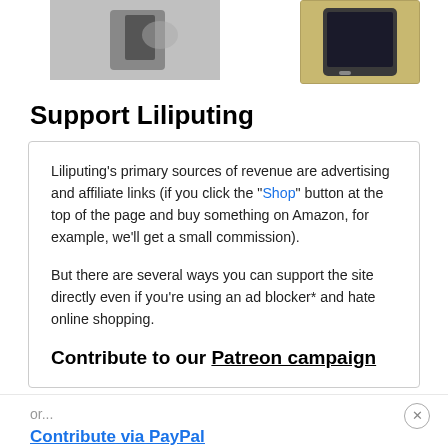[Figure (photo): Two partial product images at the top: left shows a hand holding a device, right shows a gold-colored smartphone with dark screen]
Support Liliputing
Liliputing's primary sources of revenue are advertising and affiliate links (if you click the "Shop" button at the top of the page and buy something on Amazon, for example, we'll get a small commission).
But there are several ways you can support the site directly even if you're using an ad blocker* and hate online shopping.
Contribute to our Patreon campaign
or...
Contribute via PayPal